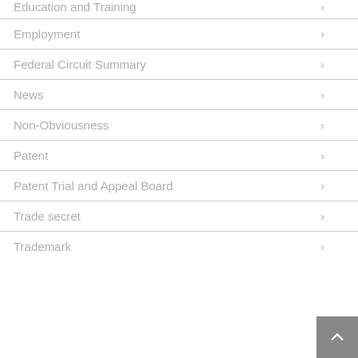Education and Training
Employment
Federal Circuit Summary
News
Non-Obviousness
Patent
Patent Trial and Appeal Board
Trade secret
Trademark